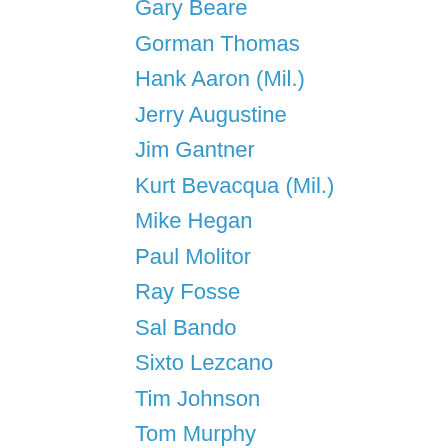Gary Beare
Gorman Thomas
Hank Aaron (Mil.)
Jerry Augustine
Jim Gantner
Kurt Bevacqua (Mil.)
Mike Hegan
Paul Molitor
Ray Fosse
Sal Bando
Sixto Lezcano
Tim Johnson
Tom Murphy
Von Joshua
Minnesota Twins
Butch Wynegar
Dave Johnson
Harmon Killebrew
Jerry Terrell
Johnny Sutton